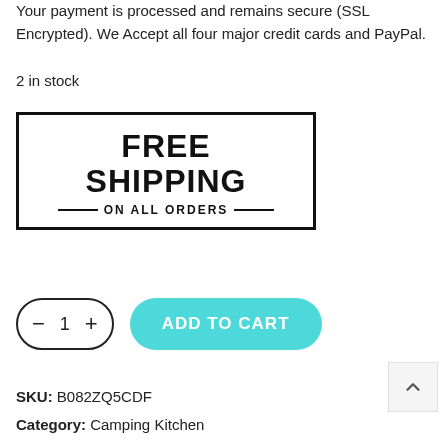Your payment is processed and remains secure (SSL Encrypted). We Accept all four major credit cards and PayPal.
2 in stock
[Figure (other): FREE SHIPPING ON ALL ORDERS badge/banner with bold text inside a rectangular border]
[Figure (other): Quantity selector control showing minus button, 1, plus button, and teal ADD TO CART button]
SKU: B082ZQ5CDF
Category: Camping Kitchen